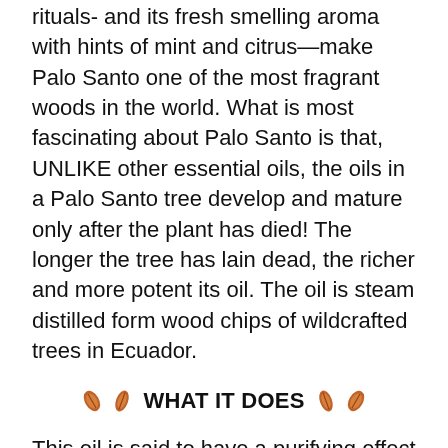rituals- and its fresh smelling aroma with hints of mint and citrus—make Palo Santo one of the most fragrant woods in the world. What is most fascinating about Palo Santo is that, UNLIKE other essential oils, the oils in a Palo Santo tree develop and mature only after the plant has died! The longer the tree has lain dead, the richer and more potent its oil. The oil is steam distilled form wood chips of wildcrafted trees in Ecuador.
🍂 WHAT IT DOES 🍂
This oil is said to have a purifying effect on the spiritual environment- it aids with emotional balancing and centering,  immune support, muscle support and as a nerve tonic.  Palo Santo has a wonderfully soothing aroma with a powerful energy, often said to increase spiritual awareness, to help the mind focus while simultaneously clearing away